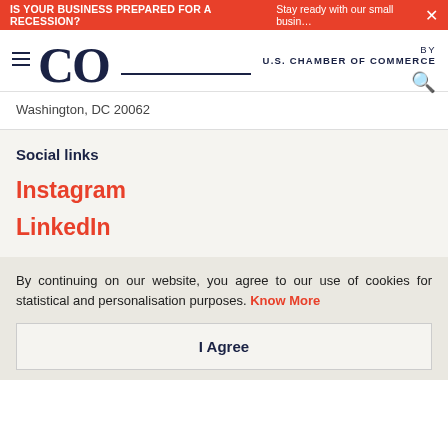IS YOUR BUSINESS PREPARED FOR A RECESSION? Stay ready with our small busin... ×
[Figure (logo): CO by U.S. Chamber of Commerce logo with hamburger menu and search icon]
Washington, DC 20062
Social links
Instagram
LinkedIn
By continuing on our website, you agree to our use of cookies for statistical and personalisation purposes. Know More
I Agree